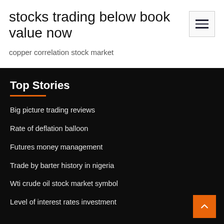stocks trading below book value now
copper correlation stock market
Top Stories
Big picture trading reviews
Rate of deflation balloon
Futures money management
Trade by barter history in nigeria
Wti crude oil stock market symbol
Level of interest rates investment